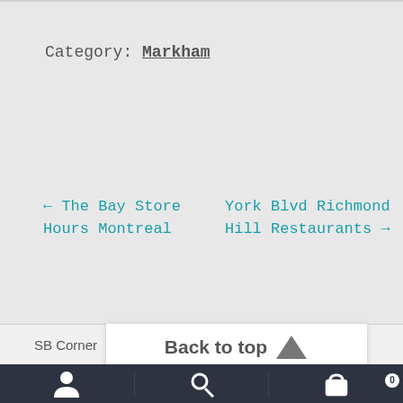Category: Markham
← The Bay Store Hours Montreal
York Blvd Richmond Hill Restaurants →
SB Corner
Back to top
User | Search | Cart (0)